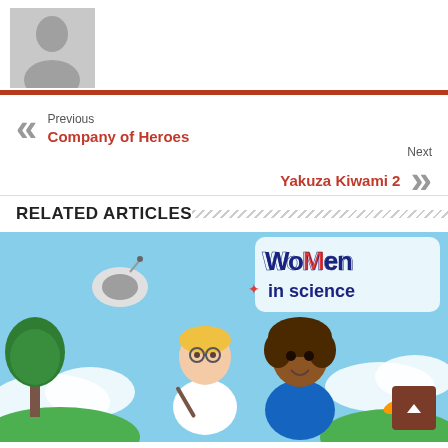[Figure (photo): Gray default avatar/profile picture placeholder with silhouette icon]
Previous
Company of Heroes
Next
Yakuza Kiwami 2
RELATED ARTICLES
[Figure (photo): Women in Science game artwork showing two animated characters (a scientist with glasses and a girl with curly hair) against a sky background with the text 'WoMen in science' logo in the upper right]